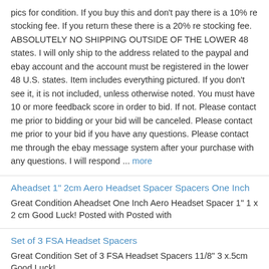pics for condition. If you buy this and don't pay there is a 10% re stocking fee. If you return these there is a 20% re stocking fee. ABSOLUTELY NO SHIPPING OUTSIDE OF THE LOWER 48 states. I will only ship to the address related to the paypal and ebay account and the account must be registered in the lower 48 U.S. states. Item includes everything pictured. If you don't see it, it is not included, unless otherwise noted. You must have 10 or more feedback score in order to bid. If not. Please contact me prior to bidding or your bid will be canceled. Please contact me prior to your bid if you have any questions. Please contact me through the ebay message system after your purchase with any questions. I will respond ... more
Aheadset 1" 2cm Aero Headset Spacer Spacers One Inch
Great Condition Aheadset One Inch Aero Headset Spacer 1" 1 x 2 cm Good Luck! Posted with Posted with
Set of 3 FSA Headset Spacers
Great Condition Set of 3 FSA Headset Spacers 11/8" 3 x.5cm Good Luck!
Straitline Headset Spacers 6,12, 25mm
Straitline Components Headset Spacers 6.12, 25mm.RcmdId ViewItemDescV4,RlogId p4%60bo7%60jtb9%3Fv%7F.rpn37%3E-13da78bb89f-0x106-
Set of 8 Cane Creek Locking Headset Spacers